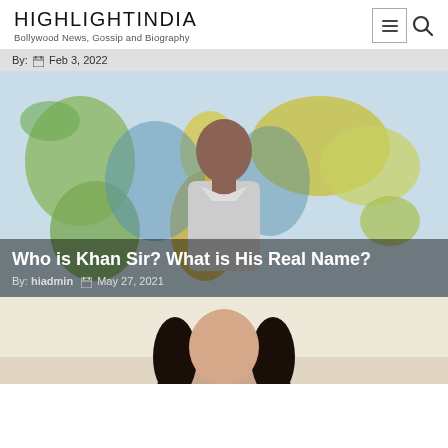HIGHLIGHTINDIA — Bollywood News, Gossip and Biography
By:   Feb 3, 2022
[Figure (photo): Man standing in front of a world map background — Khan Sir]
Who is Khan Sir? What is His Real Name?
By: hiadmin   May 27, 2021
[Figure (photo): Partial photo of a woman with dark hair, cropped at bottom of page]